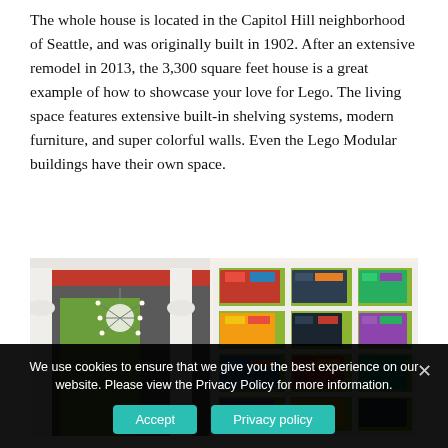The whole house is located in the Capitol Hill neighborhood of Seattle, and was originally built in 1902. After an extensive remodel in 2013, the 3,300 square feet house is a great example of how to showcase your love for Lego. The living space features extensive built-in shelving systems, modern furniture, and super colorful walls. Even the Lego Modular buildings have their own space.
[Figure (photo): Interior photo of a room with white columns, green walls, a sputnik-style chandelier, and built-in white shelving units filled with Lego sets and colorful items. A red beam is visible on the ceiling.]
We use cookies to ensure that we give you the best experience on our website. Please view the Privacy Policy for more information.